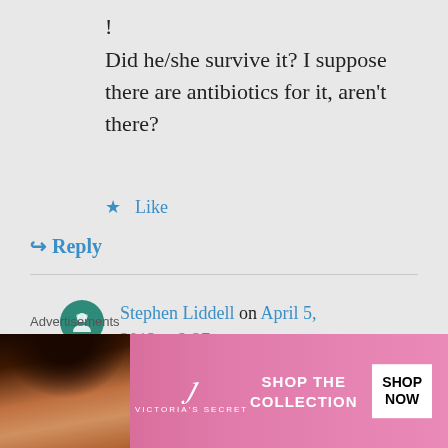!
Did he/she survive it? I suppose there are antibiotics for it, aren't there?
★ Like
↪ Reply
Stephen Liddell on April 5, 2013 at 2:27 pm
I believe he survived as he gained medical treatment
Advertisements
[Figure (other): Victoria's Secret advertisement banner with a model and text 'SHOP THE COLLECTION' and a 'SHOP NOW' button]